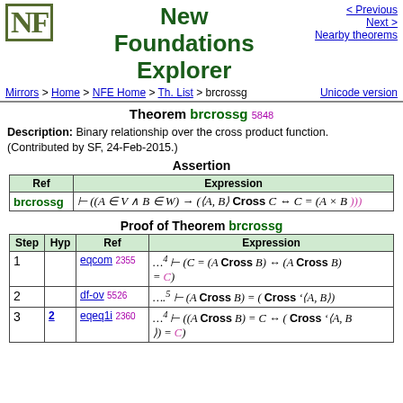New Foundations Explorer
Mirrors > Home > NFE Home > Th. List > brcrossg   Unicode version
Theorem brcrossg 5848
Description: Binary relationship over the cross product function. (Contributed by SF, 24-Feb-2015.)
Assertion
| Ref | Expression |
| --- | --- |
| brcrossg | ⊢ ((A ∈ V ∧ B ∈ W) → (〈A, B〉 Cross C ↔ C = (A × B ))) |
Proof of Theorem brcrossg
| Step | Hyp | Ref | Expression |
| --- | --- | --- | --- |
| 1 |  | eqcom 2355 | …4 ⊢ (C = (A Cross B) ↔ (A Cross B) = C) |
| 2 |  | df-ov 5526 | ….5 ⊢ (A Cross B) = ( Cross '〈A, B〉) |
| 3 | 2 | eqeq1i 2360 | …4 ⊢ ((A Cross B) = C ↔ ( Cross '〈A, B〉) = C) |